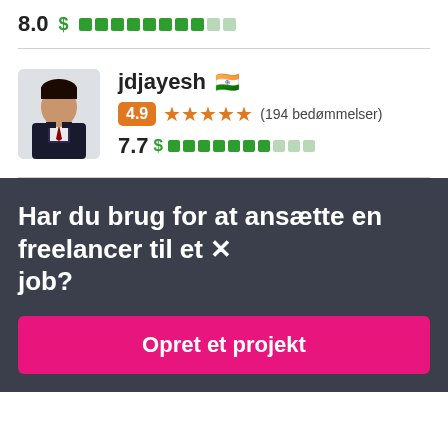[Figure (other): Top section showing rating score 8.0 with dollar bar indicator]
[Figure (other): Freelancer profile card for jdjayesh with Indian flag, rating 4.9, 194 bedømmelser, score 7.7 and dollar bar]
Har du brug for at ansætte en freelancer til et job?
Opret et projekt